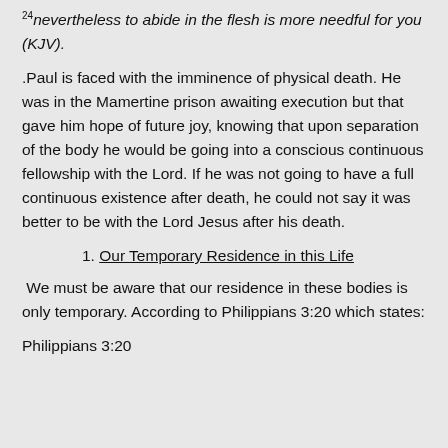24 nevertheless to abide in the flesh is more needful for you (KJV).
.Paul is faced with the imminence of physical death. He was in the Mamertine prison awaiting execution but that gave him hope of future joy, knowing that upon separation of the body he would be going into a conscious continuous fellowship with the Lord. If he was not going to have a full continuous existence after death, he could not say it was better to be with the Lord Jesus after his death.
1. Our Temporary Residence in this Life
We must be aware that our residence in these bodies is only temporary. According to Philippians 3:20 which states:
Philippians 3:20